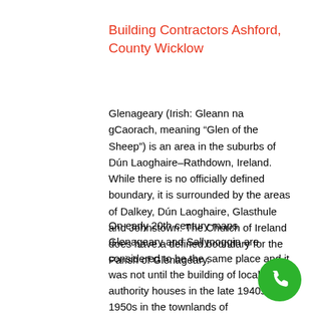Building Contractors Ashford, County Wicklow
Glenageary (Irish: Gleann na gCaorach, meaning “Glen of the Sheep”) is an area in the suburbs of Dún Laoghaire–Rathdown, Ireland. While there is no officially defined boundary, it is surrounded by the areas of Dalkey, Dún Laoghaire, Glasthule and Johnstown. The Church of Ireland does have a defined boundary for the Parish of Glenageary.
On early 20th century maps Glenageary and Sallynoggin are considered to be the same place and it was not until the building of local authority houses in the late 1940s and 1950s in the townlands of
[Figure (other): Green circular phone/call button icon in bottom-right corner]